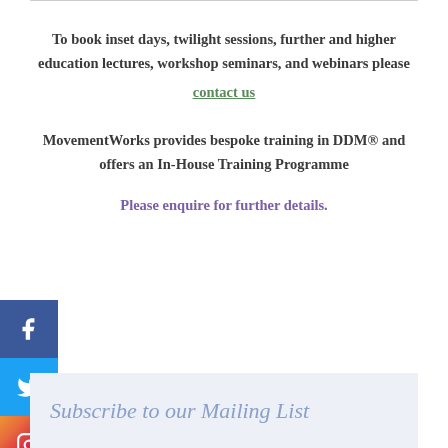To book inset days, twilight sessions, further and higher education lectures, workshop seminars, and webinars please contact us
MovementWorks provides bespoke training in DDM® and offers an In-House Training Programme
Please enquire for further details.
Subscribe to our Mailing List